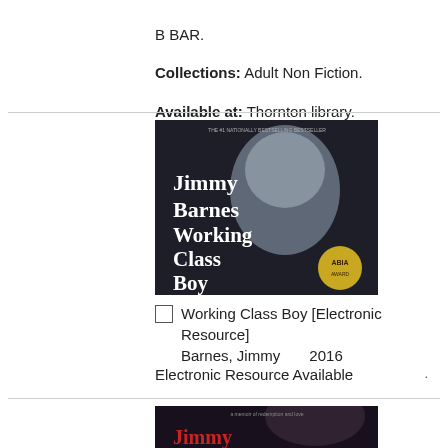B BAR.
Collections: Adult Non Fiction.
Available at: Thornton library.
Number of Holdings: 1.
[Figure (photo): Book cover of 'Working Class Boy' by Jimmy Barnes, showing a black and white photo of a young boy, with an ABIA award sticker.]
Working Class Boy [Electronic Resource]  Barnes, Jimmy    2016
Electronic Resource Available
[Figure (photo): Partial book cover showing another Jimmy Barnes book, with a dark-haired person visible.]